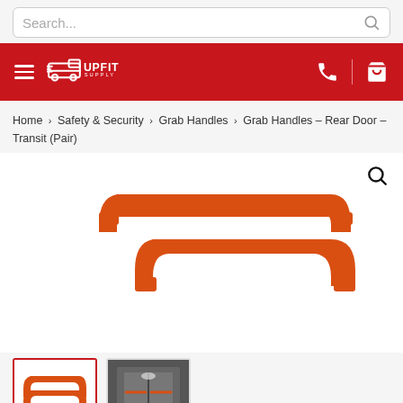Search...
UPFIT SUPPLY
Home > Safety & Security > Grab Handles > Grab Handles – Rear Door – Transit (Pair)
[Figure (photo): Two orange powder-coated steel grab handles (rear door, transit pair) shown side by side on white background]
[Figure (photo): Thumbnail 1: orange grab handles product shot]
[Figure (photo): Thumbnail 2: grab handles installed on rear door of transit van]